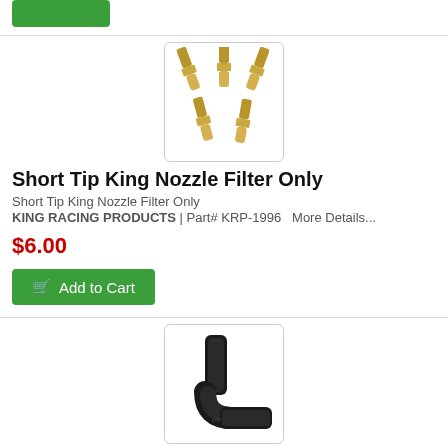[Figure (other): Green Add to Cart button at top of page (partial)]
[Figure (photo): Five brass short tip king nozzle filters arranged in two rows on white background with rounded border box]
Short Tip King Nozzle Filter Only
Short Tip King Nozzle Filter Only
KING RACING PRODUCTS  |  Part# KRP-1996   More Details...
$6.00
[Figure (other): Green Add to Cart button with shopping cart icon]
[Figure (photo): Black silicone elbow radiator hose fitting on white background with rounded border box]
1 1/2 Silicone Elbow, Radiator Hose...